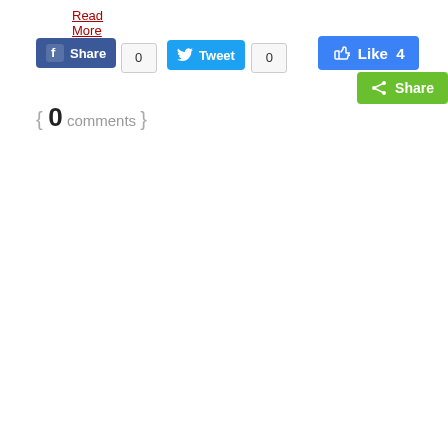Read More
[Figure (screenshot): Social sharing buttons row: Facebook Share (count 0), Twitter Tweet (count 0), Facebook Like (count 4), green Share button]
{ 0 comments }